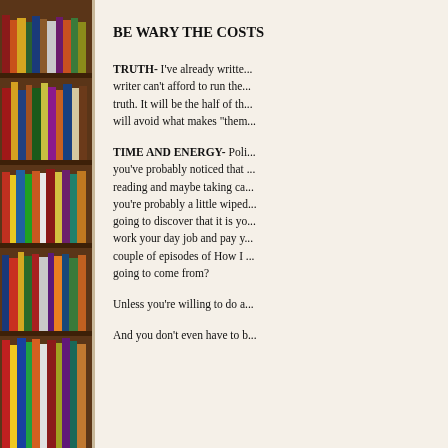[Figure (photo): Colorful books arranged on wooden bookshelves, photographed from the side, showing spines of various colors (red, yellow, blue, green, orange, white) stacked vertically across multiple shelves.]
BE WARY THE COSTS
TRUTH-  I've already writte... writer  can't afford to run the... truth.  It will be the half of th... will avoid what makes "them...
TIME AND ENERGY- Poli... you've probably noticed that ... reading and maybe taking ca... you're probably a little wiped... going to discover that it is yo... work your day job and pay y... couple of episodes of How I ... going to come from?
Unless you're willing to do a...
And you don't even have to b...